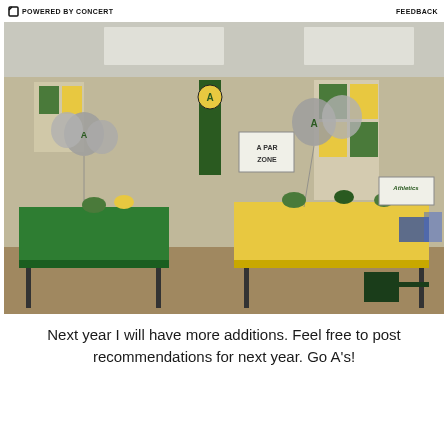POWERED BY CONCERT | FEEDBACK
[Figure (photo): Indoor classroom or event room decorated with Oakland Athletics baseball team items — green and yellow tablecloths on folding tables, Oakland A's balloons, banners, flags, memorabilia on walls and tables, party zone sign visible in background.]
Next year I will have more additions. Feel free to post recommendations for next year. Go A's!